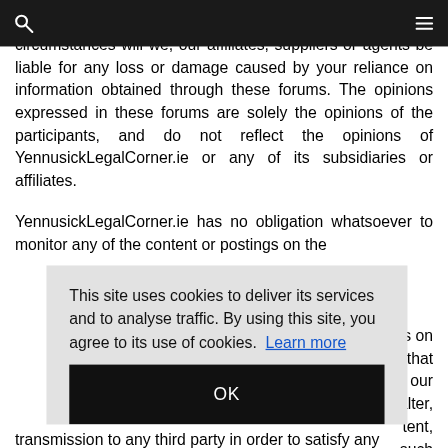[Navigation bar with search and menu icons]
circumstances will we, our affiliates, suppliers or agents be liable for any loss or damage caused by your reliance on information obtained through these forums. The opinions expressed in these forums are solely the opinions of the participants, and do not reflect the opinions of YennusickLegalCorner.ie or any of its subsidiaries or affiliates.
YennusickLegalCorner.ie has no obligation whatsoever to monitor any of the content or postings on the [forums on] [that] [our] [alter,] [cent,] [such] [their] transmission to any third party in order to satisfy any
This site uses cookies to deliver its services and to analyse traffic. By using this site, you agree to its use of cookies.  Learn more
OK